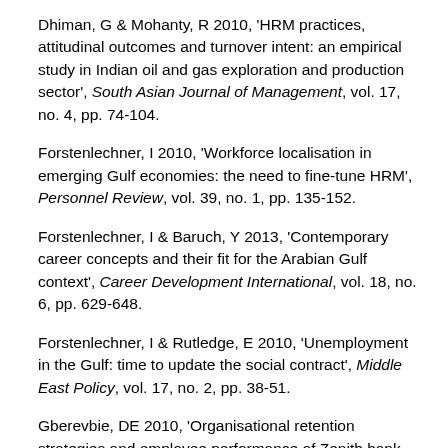Dhiman, G & Mohanty, R 2010, 'HRM practices, attitudinal outcomes and turnover intent: an empirical study in Indian oil and gas exploration and production sector', South Asian Journal of Management, vol. 17, no. 4, pp. 74-104.
Forstenlechner, I 2010, 'Workforce localisation in emerging Gulf economies: the need to fine-tune HRM', Personnel Review, vol. 39, no. 1, pp. 135-152.
Forstenlechner, I & Baruch, Y 2013, 'Contemporary career concepts and their fit for the Arabian Gulf context', Career Development International, vol. 18, no. 6, pp. 629-648.
Forstenlechner, I & Rutledge, E 2010, 'Unemployment in the Gulf: time to update the social contract', Middle East Policy, vol. 17, no. 2, pp. 38-51.
Gberevbie, DE 2010, 'Organisational retention strategies and employee performance of Zenith bank